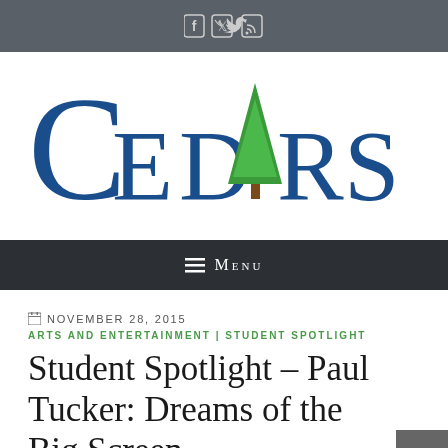[Social icons: Facebook, Twitter, RSS]
[Figure (logo): Cedars publication logo with green tree replacing the letter A]
Menu
NOVEMBER 28, 2015
ARTS AND ENTERTAINMENT | STUDENT SPOTLIGHT
Student Spotlight – Paul Tucker: Dreams of the Big Screen